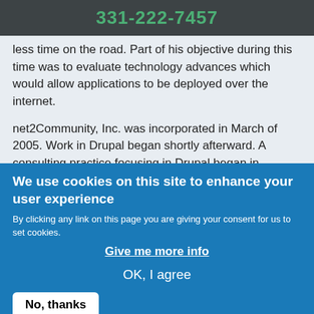331-222-7457
less time on the road. Part of his objective during this time was to evaluate technology advances which would allow applications to be deployed over the internet.
net2Community, Inc. was incorporated in March of 2005. Work in Drupal began shortly afterward. A consulting practice focusing in Drupal began in September of 2006 and remains active in the Chicago Drupal Community. Project work since that time has included Drupal versions 4.7 to 8.
In order to better serve our clients, net2Community, Inc.
We use cookies on this site to enhance your user experience
By clicking any link on this page you are giving your consent for us to set cookies.
Give me more info
OK, I agree
No, thanks